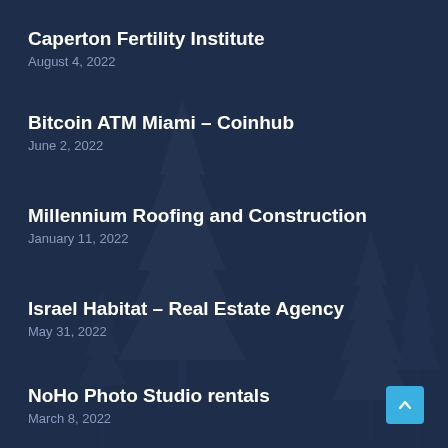Caperton Fertility Institute
August 4, 2022
Bitcoin ATM Miami – Coinhub
June 2, 2022
Millennium Roofing and Construction
January 11, 2022
Israel Habitat – Real Estate Agency
May 31, 2022
NoHo Photo Studio rentals
March 8, 2022